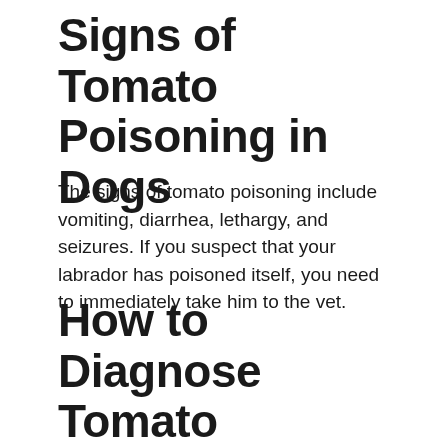Signs of Tomato Poisoning in Dogs
The signs of tomato poisoning include vomiting, diarrhea, lethargy, and seizures. If you suspect that your labrador has poisoned itself, you need to immediately take him to the vet.
How to Diagnose Tomato Poisoning in Dogs?